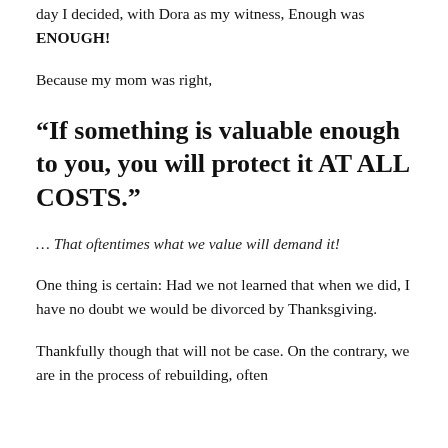day I decided, with Dora as my witness, Enough was ENOUGH!
Because my mom was right,
“If something is valuable enough to you, you will protect it AT ALL COSTS.”
… That oftentimes what we value will demand it!
One thing is certain: Had we not learned that when we did, I have no doubt we would be divorced by Thanksgiving.
Thankfully though that will not be case. On the contrary, we are in the process of rebuilding, often